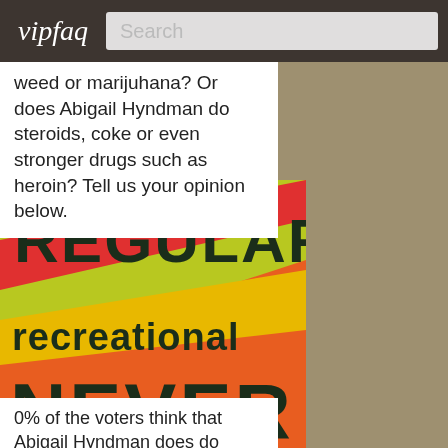vipfaq | Search
weed or marijuhana? Or does Abigail Hyndman do steroids, coke or even stronger drugs such as heroin? Tell us your opinion below.
[Figure (infographic): Colorful diagonal striped banner with three answer options: REGULAR, recreational, NEVER in large bold text on yellow, orange and red diagonal stripe background]
0% of the voters think that Abigail Hyndman does do drugs regularly. 0% assume that Abigail